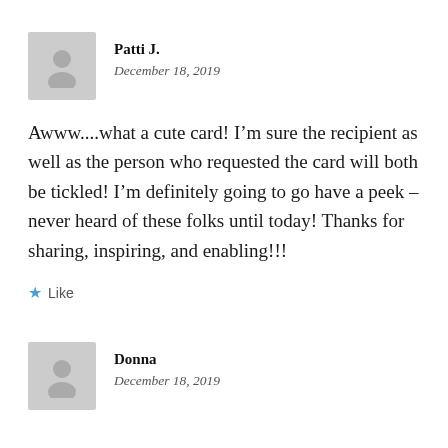[Figure (illustration): Gray avatar placeholder icon for user Patti J.]
Patti J.
December 18, 2019
Awww....what a cute card! I’m sure the recipient as well as the person who requested the card will both be tickled! I’m definitely going to go have a peek – never heard of these folks until today! Thanks for sharing, inspiring, and enabling!!!
★ Like
[Figure (illustration): Gray avatar placeholder icon for user Donna]
Donna
December 18, 2019